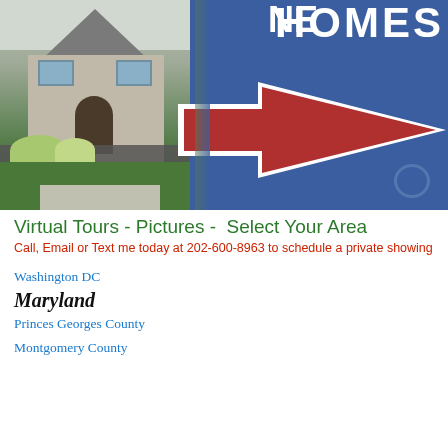[Figure (photo): Photo of a house exterior with manicured green lawn and shrubs on the left side, and a large blue real estate sign on the right with 'NEW HOMES' text and a red arrow pointing left]
Virtual Tours - Pictures -  Select Your Area
Call, Email or Text me today at 202-600-8963 to schedule a private showing
Washington DC
Maryland
Princes Georges County
Montgomery County